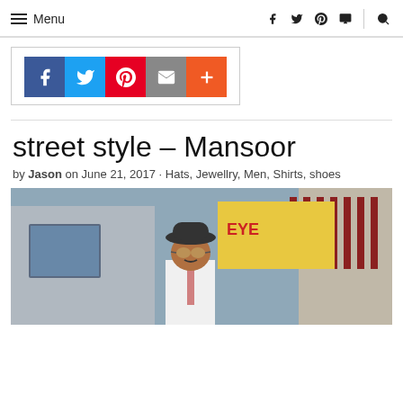≡ Menu  f  t  p  t  🔍
[Figure (infographic): Social share buttons: Facebook (blue), Twitter (light blue), Pinterest (red), Email (gray), More (orange)]
street style – Mansoor
by Jason on June 21, 2017 · Hats, Jewellry, Men, Shirts, shoes
[Figure (photo): Street style photo of Mansoor wearing a bowler hat, round sunglasses, and a white shirt with tie, standing in front of a building with signs including 'EYE' visible]